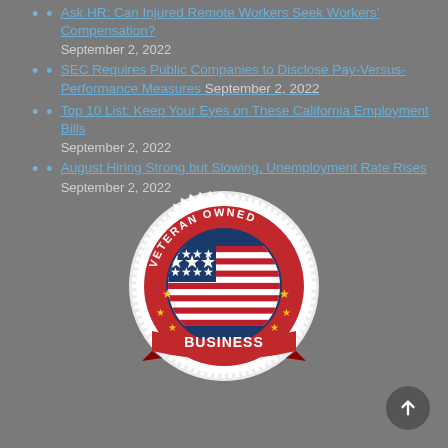Ask HR: Can Injured Remote Workers Seek Workers' Compensation? September 2, 2022
SEC Requires Public Companies to Disclose Pay-Versus-Performance Measures September 2, 2022
Top 10 List: Keep Your Eyes on These California Employment Bills September 2, 2022
August Hiring Strong but Slowing, Unemployment Rate Rises September 2, 2022
[Figure (logo): Veteran Owned Business badge/seal with US flag, red ribbon banner, white serrated edge border]